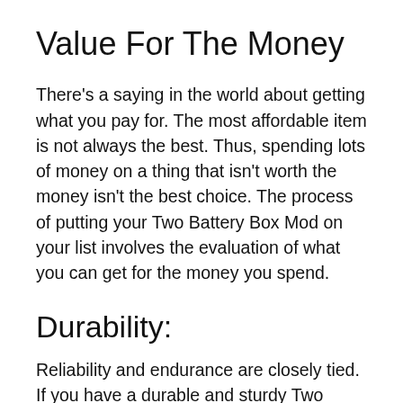Value For The Money
There’s a saying in the world about getting what you pay for. The most affordable item is not always the best. Thus, spending lots of money on a thing that isn’t worth the money isn’t the best choice. The process of putting your Two Battery Box Mod on your list involves the evaluation of what you can get for the money you spend.
Durability:
Reliability and endurance are closely tied. If you have a durable and sturdy Two